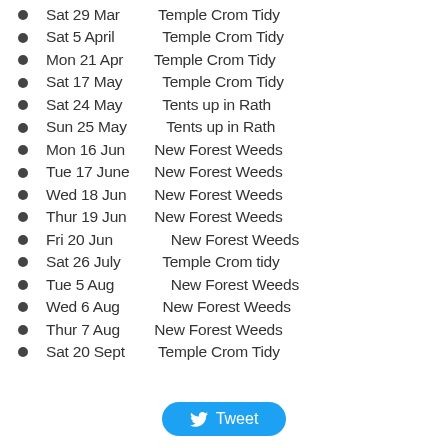Sat 29 Mar    Temple Crom Tidy
Sat 5 April    Temple Crom Tidy
Mon 21 Apr   Temple Crom Tidy
Sat 17 May    Temple Crom Tidy
Sat 24 May    Tents up in Rath
Sun 25 May    Tents up in Rath
Mon 16 Jun   New Forest Weeds
Tue 17 June   New Forest Weeds
Wed 18 Jun   New Forest Weeds
Thur 19 Jun   New Forest Weeds
Fri 20 Jun       New Forest Weeds
Sat 26 July    Temple Crom tidy
Tue 5 Aug      New Forest Weeds
Wed 6 Aug    New Forest Weeds
Thur 7 Aug   New Forest Weeds
Sat 20 Sept   Temple Crom Tidy